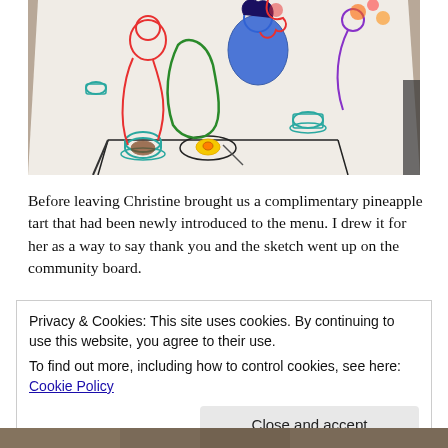[Figure (illustration): A colorful hand-drawn sketch on white paper showing people seated around a table with food and drinks, drawn with markers in red, blue, green, teal, yellow and black. The sketch is photographed at an angle on a wooden surface.]
Before leaving Christine brought us a complimentary pineapple tart that had been newly introduced to the menu. I drew it for her as a way to say thank you and the sketch went up on the community board.
Privacy & Cookies: This site uses cookies. By continuing to use this website, you agree to their use.
To find out more, including how to control cookies, see here: Cookie Policy
[Figure (photo): Partial photo at bottom of page, bottom edge cut off, showing a brown/amber colored surface.]